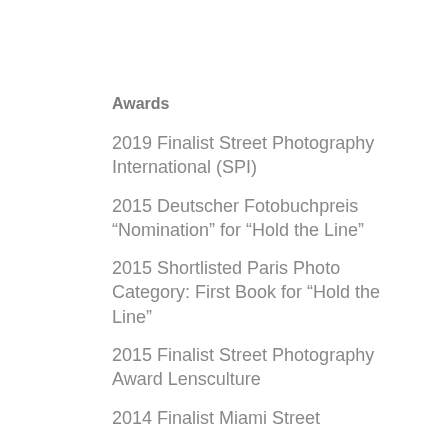Awards
2019 Finalist Street Photography International (SPI)
2015 Deutscher Fotobuchpreis “Nomination” for “Hold the Line”
2015 Shortlisted Paris Photo Category: First Book for “Hold the Line”
2015 Finalist Street Photography Award Lensculture
2014 Finalist Miami Street